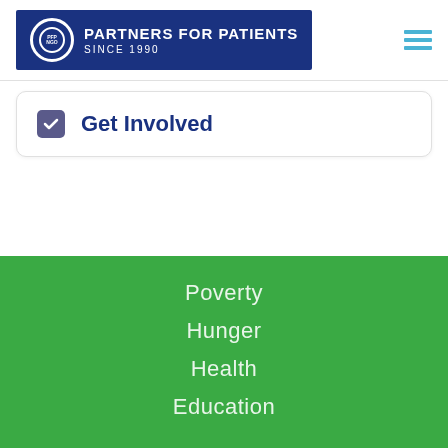[Figure (logo): Partners for Patients logo - dark blue rectangle with circular logo mark and text 'PARTNERS FOR PATIENTS SINCE 1990']
[Figure (other): Hamburger menu icon - three horizontal blue lines]
✓ Get Involved
Poverty
Hunger
Health
Education